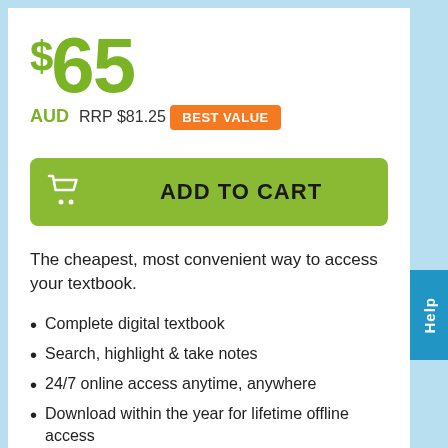$65 AUD  RRP $81.25
BEST VALUE
ADD TO CART
The cheapest, most convenient way to access your textbook.
Complete digital textbook
Search, highlight & take notes
24/7 online access anytime, anywhere
Download within the year for lifetime offline access
More on E-Text